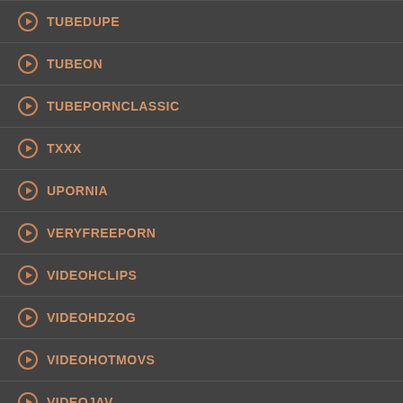TUBEDUPE
TUBEON
TUBEPORNCLASSIC
TXXX
UPORNIA
VERYFREEPORN
VIDEOHCLIPS
VIDEOHDZOG
VIDEOHOTMOVS
VIDEOJAV
VIDEOTUBEPORNCLASSIC
VIDEOUPORNIA
VIDEOJAV